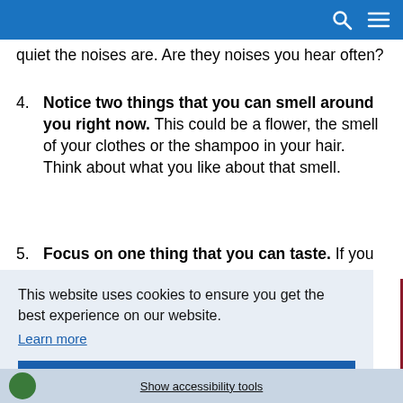quiet the noises are. Are they noises you hear often?
Notice two things that you can smell around you right now. This could be a flower, the smell of your clothes or the shampoo in your hair. Think about what you like about that smell.
Focus on one thing that you can taste. If you
This website uses cookies to ensure you get the best experience on our website.
Learn more
Got it!
Show accessibility tools